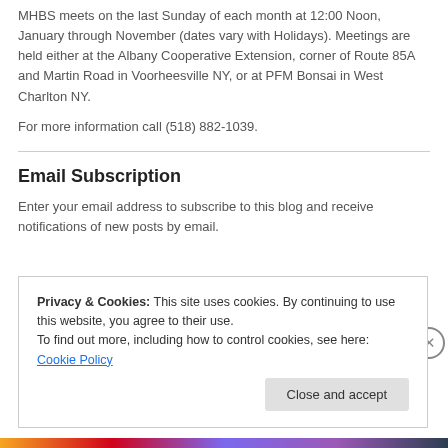MHBS meets on the last Sunday of each month at 12:00 Noon, January through November (dates vary with Holidays). Meetings are held either at the Albany Cooperative Extension, corner of Route 85A and Martin Road in Voorheesville NY, or at PFM Bonsai in West Charlton NY.
For more information call (518) 882-1039.
Email Subscription
Enter your email address to subscribe to this blog and receive notifications of new posts by email.
Privacy & Cookies: This site uses cookies. By continuing to use this website, you agree to their use.
To find out more, including how to control cookies, see here: Cookie Policy
Close and accept